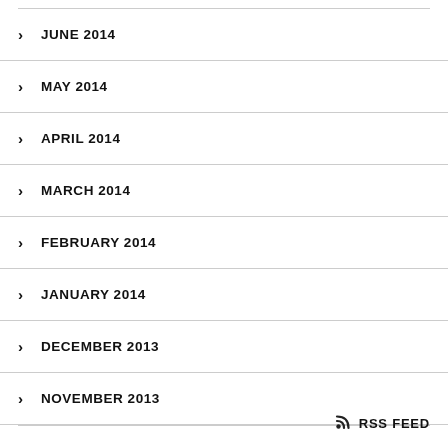JUNE 2014
MAY 2014
APRIL 2014
MARCH 2014
FEBRUARY 2014
JANUARY 2014
DECEMBER 2013
NOVEMBER 2013
RSS FEED